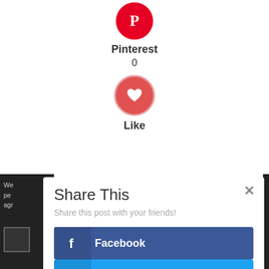[Figure (screenshot): Pinterest circular icon with white 'P' letter on red background]
Pinterest
0
[Figure (illustration): Red circular Like button with white heart icon]
Like
Share This
Share this post with your friends!
Facebook
Twitter
Pinterest
Like